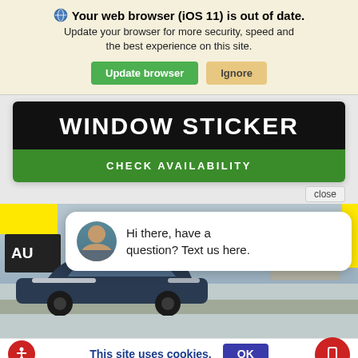Your web browser (iOS 11) is out of date. Update your browser for more security, speed and the best experience on this site.
[Figure (screenshot): Browser update banner with Update browser (green) and Ignore (tan) buttons]
[Figure (screenshot): WINDOW STICKER header in white text on black background with CHECK AVAILABILITY green button below]
[Figure (screenshot): Chat popup saying Hi there, have a question? Text us here. with avatar, overlaid on car dealership photo]
Hi there, have a question? Text us here.
This site uses cookies.
close